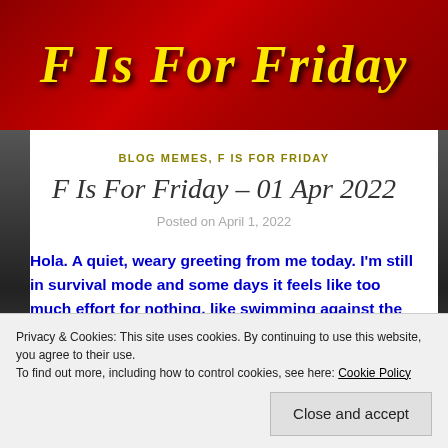[Figure (illustration): Blog banner with red/dark background and yellow italic text reading 'F Is For Friday']
BLOG MEMES, F IS FOR FRIDAY
F Is For Friday - 01 Apr 2022
Posted on April 1, 2022
Hola. A quiet, weary greeting from me today. I'm still in survival mode and some days it feels like too much effort for nothing, like swimming against the tide. But no matter how many times I fell and felt the rock bottom touch, I never gave up hope of
Privacy & Cookies: This site uses cookies. By continuing to use this website, you agree to their use.
To find out more, including how to control cookies, see here: Cookie Policy
[Close and accept]